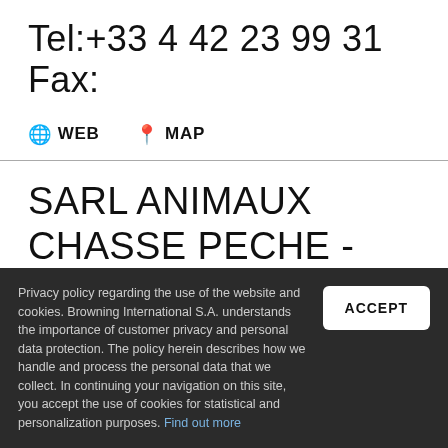Tel:+33 4 42 23 99 31
Fax:
🌐WEB   📍MAP
SARL ANIMAUX CHASSE PECHE -ACP
271 CH. DES CAILLOUX, ROUTE DE ST RéMY DE
Privacy policy regarding the use of the website and cookies. Browning International S.A. understands the importance of customer privacy and personal data protection. The policy herein describes how we handle and process the personal data that we collect. In continuing your navigation on this site, you accept the use of cookies for statistical and personalization purposes. Find out more